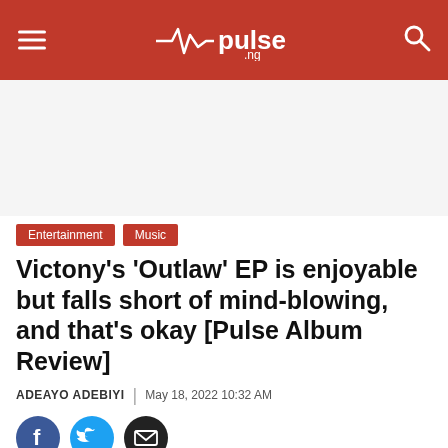pulse .ng
[Figure (other): Advertisement placeholder white space]
Entertainment   Music
Victony's 'Outlaw' EP is enjoyable but falls short of mind-blowing, and that's okay [Pulse Album Review]
ADEAYO ADEBIYI | May 18, 2022 10:32 AM
[Figure (other): Social share icons: Facebook, Twitter, Email]